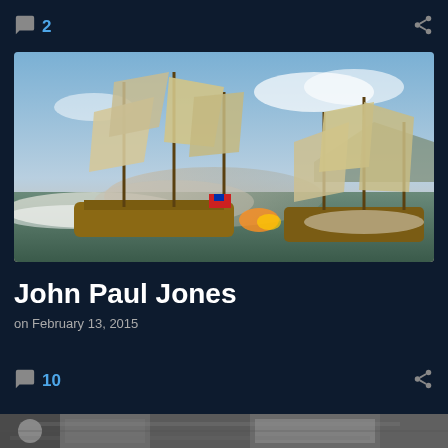2
[Figure (illustration): Painting of two large sailing warships in a naval battle on rough seas with smoke and cannon fire, blue sky with clouds in background]
John Paul Jones
on February 13, 2015
10
[Figure (photo): Partial black and white photograph visible at the bottom of the page]